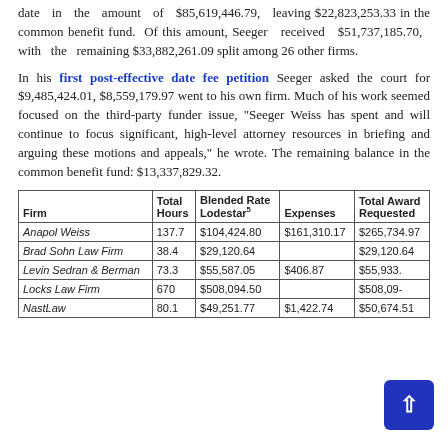date in the amount of $85,619,446.79, leaving $22,823,253.33 in the common benefit fund. Of this amount, Seeger received $51,737,185.70, with the remaining $33,882,261.09 split among 26 other firms.
In his first post-effective date fee petition Seeger asked the court for $9,485,424.01, $8,559,179.97 went to his own firm. Much of his work seemed focused on the third-party funder issue, "Seeger Weiss has spent and will continue to focus significant, high-level attorney resources in briefing and arguing these motions and appeals," he wrote. The remaining balance in the common benefit fund: $13,337,829.32.
| Firm | Total Hours | Blended Rate Lodestar5 | Expenses | Total Award Requested |
| --- | --- | --- | --- | --- |
| Anapol Weiss | 137.7 | $104,424.80 | $161,310.17 | $265,734.97 |
| Brad Sohn Law Firm | 38.4 | $29,120.64 |  | $29,120.64 |
| Levin Sedran & Berman | 73.3 | $55,587.05 | $406.87 | $55,933. |
| Locks Law Firm | 670 | $508,094.50 |  | $508,09- |
| NastLaw | 80.1 | $49,251.77 | $1,422.74 | $50,674.51 |